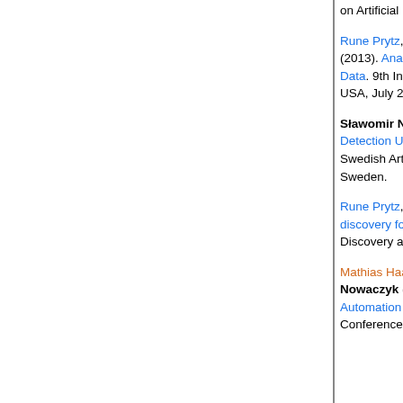on Artificial Intelligence, Aalborg, Denmark, November 20–22, 2013.
Rune Prytz, Sławomir Nowaczyk, Thorsteinn Rögnvaldsson, Stefan Byttner (2013). Analysis of Truck Compressor Failures Based on Logged Vehicle Data. 9th International Conference on Data Mining, Las Vegas, Nevada, USA, July 22–25, 2013.
Sławomir Nowaczyk, Stefan Byttner, Rune Prytz (2012). Ideas for Fault Detection Using Relation Discovery. The 27th annual workshop of the Swedish Artificial Intelligence Society (SAIS), 14–15 May 2012, Örebro, Sweden.
Rune Prytz, Sławomir Nowaczyk, Stefan Byttner (2011). Towards relation discovery for diagnostics. 17th ACM SIGKDD Conference on Knowledge Discovery and Data Mining.
Mathias Haage, Jacek Malec, Anders Nilsson, Klas Nilsson, Sławomir Nowaczyk (2011). Declarative Knowledge-Based Reconfiguration of Automation Systems Using a Blackboard Architecture. 11th Scandinavian Conference on